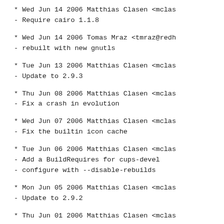* Wed Jun 14 2006 Matthias Clasen <mclas
- Require cairo 1.1.8
* Wed Jun 14 2006 Tomas Mraz <tmraz@redh
- rebuilt with new gnutls
* Tue Jun 13 2006 Matthias Clasen <mclas
- Update to 2.9.3
* Thu Jun 08 2006 Matthias Clasen <mclas
- Fix a crash in evolution
* Wed Jun 07 2006 Matthias Clasen <mclas
- Fix the builtin icon cache
* Tue Jun 06 2006 Matthias Clasen <mclas
- Add a BuildRequires for cups-devel
- configure with --disable-rebuilds
* Mon Jun 05 2006 Matthias Clasen <mclas
- Update to 2.9.2
* Thu Jun 01 2006 Matthias Clasen <mclas